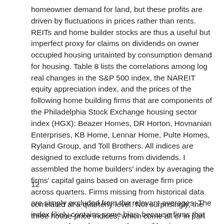homeowner demand for land, but these profits are driven by fluctuations in prices rather than rents. REITs and home builder stocks are thus a useful but imperfect proxy for claims on dividends on owner occupied housing untainted by consumption demand for housing. Table 8 lists the correlations among log real changes in the S&P 500 index, the NAREIT equity appreciation index, and the prices of the following home building firms that are components of the Philadelphia Stock Exchange housing sector index (HGX): Beazer Homes, DR Horton, Hovnanian Enterprises, KB Home, Lennar Home, Pulte Homes, Ryland Group, and Toll Brothers. All indices are designed to exclude returns from dividends. I assembled the home builders' index by averaging the firms' capital gains based on average firm price across quarters. Firms missing from historical data are simply excluded from the relevant averages. The index likely contains some bias, because firms that were once large but presently out of business are excluded. Table 8 shows that the S&P 500, REIT stocks, and homebuilder stocks are all highly
12
correlated at a quarterly level. Not surprisingly, the three house price indices, which come all or in part from the